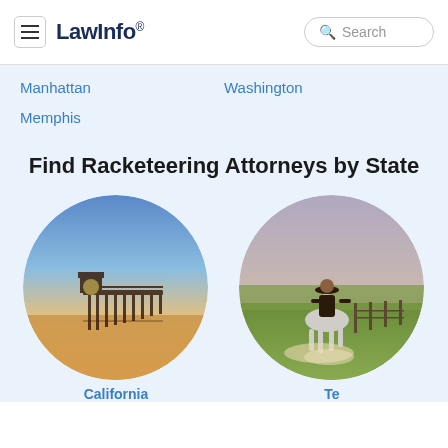LawInfo. Search
Manhattan
Washington
Memphis
Find Racketeering Attorneys by State
[Figure (photo): Circular photo of a pier at sunset with golden sky, California]
[Figure (photo): Circular photo of a cowboy on horseback in a field, Texas]